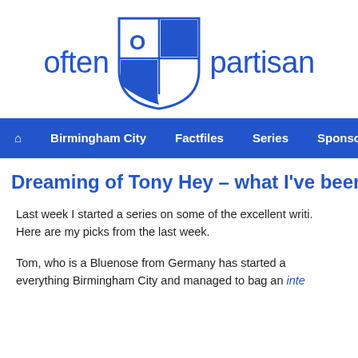[Figure (logo): Often Partisan website logo with shield emblem containing O and P letters in blue and white checkerboard pattern, flanked by 'often' and 'partisan' text in blue]
Birmingham City  Factfiles  Series  Sponsorship  We
Dreaming of Tony Hey – what I've been
Last week I started a series on some of the excellent writi. Here are my picks from the last week.
Tom, who is a Bluenose from Germany has started a everything Birmingham City and managed to bag an inte